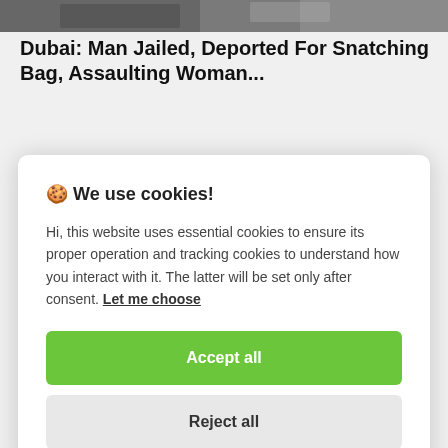[Figure (photo): Partial photo visible at top of page, cropped, dark tones suggesting an outdoor or news scene]
Dubai: Man Jailed, Deported For Snatching Bag, Assaulting Woman...
🍪 We use cookies!
Hi, this website uses essential cookies to ensure its proper operation and tracking cookies to understand how you interact with it. The latter will be set only after consent. Let me choose
Accept all
Reject all